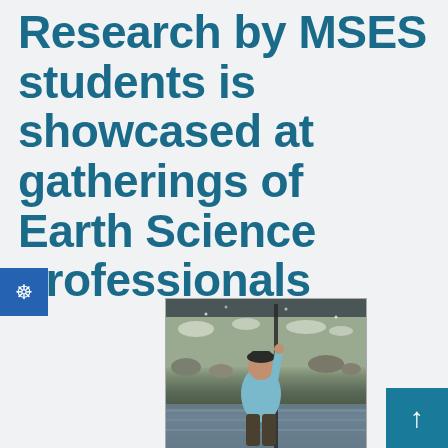Research by MSES students is showcased at gatherings of Earth Science professionals
[Figure (photo): A person in a light blue jacket and dark pants/waders stands in a river or stream during winter, holding a tall measurement pole. Snow-covered trees and rocks are visible in the background.]